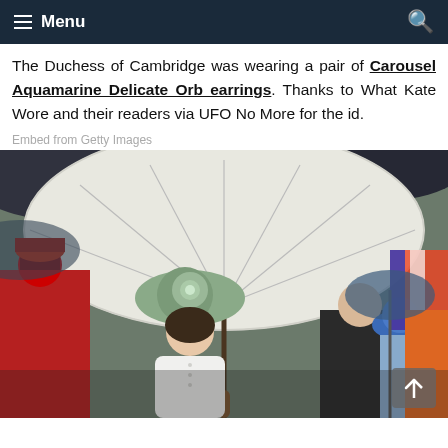Menu
The Duchess of Cambridge was wearing a pair of Carousel Aquamarine Delicate Orb earrings. Thanks to What Kate Wore and their readers via UFO No More for the id.
Embed from Getty Images
[Figure (photo): Woman (Duchess of Cambridge) holding a large white umbrella at an outdoor event, wearing a white dress and a sage green floral hat. Other attendees and a ceremonial guard visible in the background.]